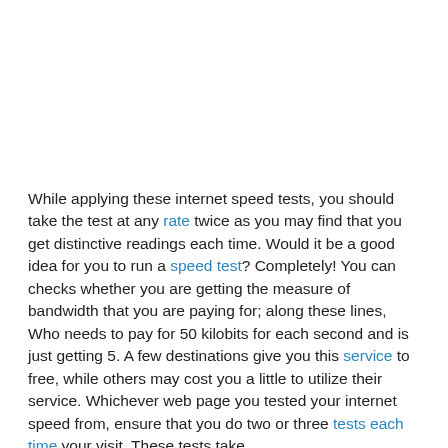While applying these internet speed tests, you should take the test at any rate twice as you may find that you get distinctive readings each time. Would it be a good idea for you to run a speed test? Completely! You can checks whether you are getting the measure of bandwidth that you are paying for; along these lines, Who needs to pay for 50 kilobits for each second and is just getting 5. A few destinations give you this service to free, while others may cost you a little to utilize their service. Whichever web page you tested your internet speed from, ensure that you do two or three tests each time your visit. These tests take